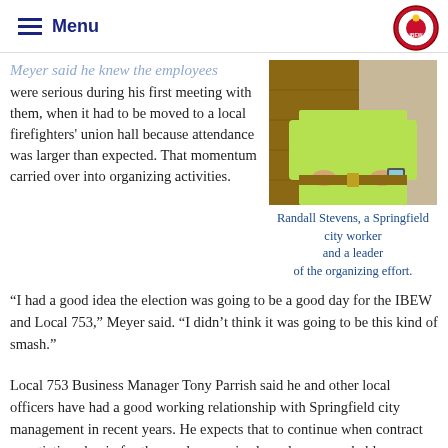is the way I figured it.
Menu
Meyer said he knew the employees were serious during his first meeting with them, when it had to be moved to a local firefighters' union hall because attendance was larger than expected. That momentum carried over into organizing activities.
[Figure (photo): Photo of Randall Stevens, a Springfield city worker wearing a yellow-green shirt, shown from torso down]
Randall Stevens, a Springfield city worker and a leader of the organizing effort.
“I had a good idea the election was going to be a good day for the IBEW and Local 753,” Meyer said. “I didn’t think it was going to be this kind of smash.”
Local 753 Business Manager Tony Parrish said he and other local officers have had a good working relationship with Springfield city management in recent years. He expects that to continue when contract negotiations begin for the newly-organized employees, probably sometime next year.
“They knew we had good relationships and we were able to negotiate good contracts with the city utilities,” Parrish said. “It seemed like a natural fit for them to come over and join us. They seem really pumped and excited. I really hope we can do them some good.”
It was an extra special moment for Meyer, a retired utility worker in Springfield,